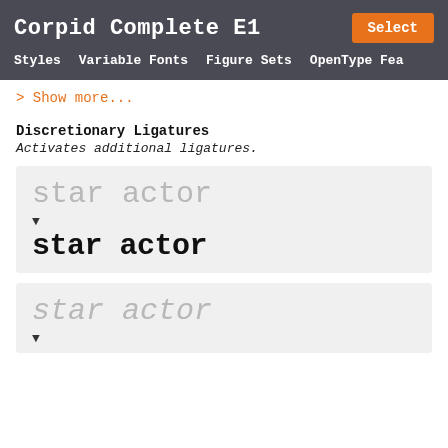Corpid Complete E1
Styles  Variable Fonts  Figure Sets  OpenType Fea
> Show more...
Discretionary Ligatures
Activates additional ligatures.
[Figure (illustration): Demo box showing 'star actor' in grey monospace before ligatures (top), arrow pointing down, and 'star actor' with ligatures applied in black bold monospace (bottom)]
[Figure (illustration): Demo box showing 'star actor' in grey italic monospace before ligatures (top) and arrow pointing down at bottom edge]